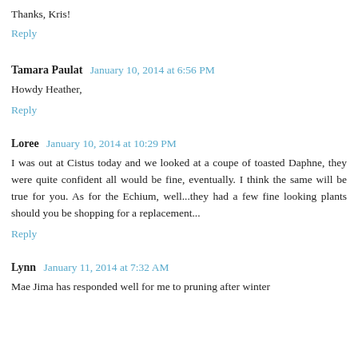Thanks, Kris!
Reply
Tamara Paulat  January 10, 2014 at 6:56 PM
Howdy Heather,
Reply
Loree  January 10, 2014 at 10:29 PM
I was out at Cistus today and we looked at a coupe of toasted Daphne, they were quite confident all would be fine, eventually. I think the same will be true for you. As for the Echium, well...they had a few fine looking plants should you be shopping for a replacement...
Reply
Lynn  January 11, 2014 at 7:32 AM
Mae Jima has responded well for me to pruning after winter